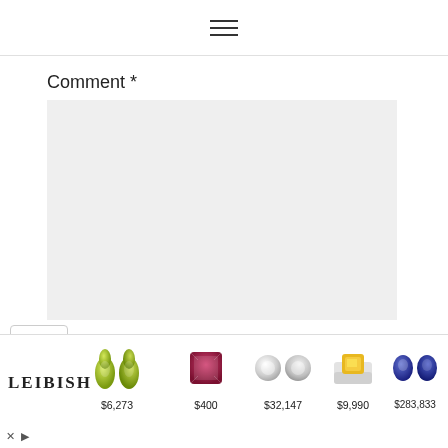≡
Comment *
[Figure (screenshot): Empty grey comment textarea input box]
[Figure (other): Collapse/dropdown chevron button]
[Figure (infographic): Leibish advertisement banner showing gemstones with prices: $6,273; $400; $32,147; $9,990; $283,833]